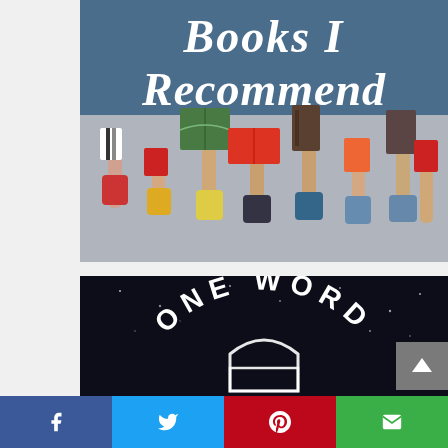[Figure (illustration): Book recommendation graphic: dark blue top banner with white handwritten text 'Books I Recommend', below it a gray background with many hands raised holding colorful books (green, red, dark brown, orange, white/black striped).]
[Figure (illustration): Dark/space-themed book cover or graphic with white arched text 'ONE WORD' and what appears to be a door or arch shape below it, on a dark starry background.]
Social share bar with Facebook, Twitter, Pinterest, and Email buttons